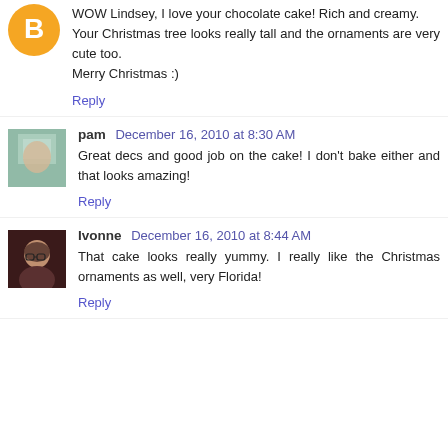WOW Lindsey, I love your chocolate cake! Rich and creamy.
Your Christmas tree looks really tall and the ornaments are very cute too.
Merry Christmas :)
Reply
pam  December 16, 2010 at 8:30 AM
Great decs and good job on the cake! I don't bake either and that looks amazing!
Reply
Ivonne  December 16, 2010 at 8:44 AM
That cake looks really yummy. I really like the Christmas ornaments as well, very Florida!
Reply